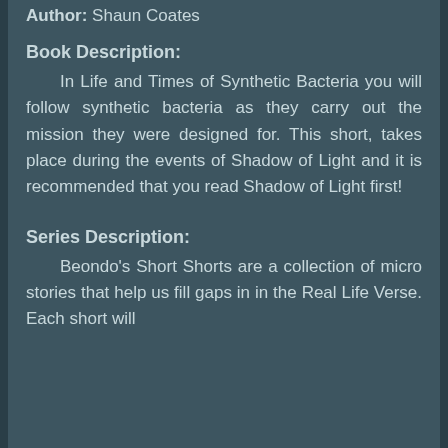Author: Shaun Coates
Book Description:
In Life and Times of Synthetic Bacteria you will follow synthetic bacteria as they carry out the mission they were designed for. This short, takes place during the events of Shadow of Light and it is recommended that you read Shadow of Light first!
Series Description:
Beondo's Short Shorts are a collection of micro stories that help us fill gaps in in the Real Life Verse. Each short will